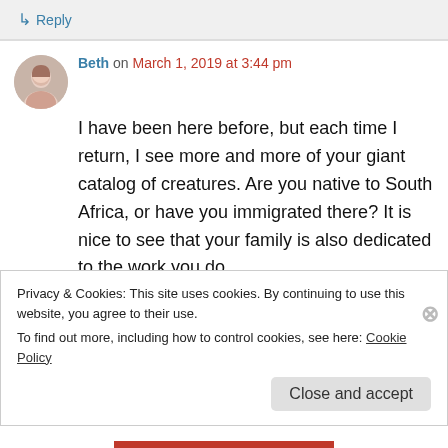↳ Reply
Beth on March 1, 2019 at 3:44 pm
I have been here before, but each time I return, I see more and more of your giant catalog of creatures. Are you native to South Africa, or have you immigrated there? It is nice to see that your family is also dedicated to the work you do.
★ Liked by 1 person
Privacy & Cookies: This site uses cookies. By continuing to use this website, you agree to their use.
To find out more, including how to control cookies, see here: Cookie Policy
Close and accept